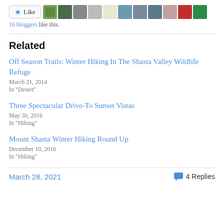[Figure (other): Like button with star icon and row of blogger avatar thumbnails]
16 bloggers like this.
Related
Off Season Trails: Winter Hiking In The Shasta Valley Wildlife Refuge
March 21, 2014
In "Desert"
Three Spectacular Drive-To Sunset Vistas
May 30, 2016
In "Hiking"
Mount Shasta Winter Hiking Round Up
December 10, 2016
In "Hiking"
March 28, 2021   4 Replies